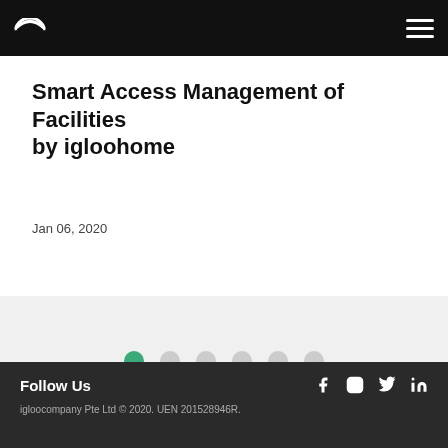igloohome navigation bar
Smart Access Management of Facilities by igloohome
Jan 06, 2020
[Figure (other): Pagination dots: 6 dots, first one active (green), rest grey]
Follow Us  |  igloocompany Pte Ltd © 2020. UEN 201528946R.